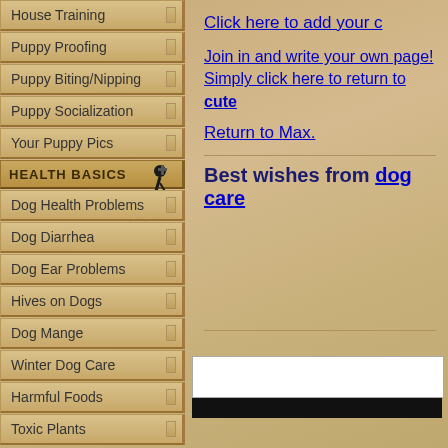House Training
Puppy Proofing
Puppy Biting/Nipping
Puppy Socialization
Your Puppy Pics
[Figure (logo): Health Basics header with silhouette of person and dog]
Dog Health Problems
Dog Diarrhea
Dog Ear Problems
Hives on Dogs
Dog Mange
Winter Dog Care
Harmful Foods
Toxic Plants
Click here to add your c
Join in and write your own page! Simply click here to return to cute
Return to Max.
Best wishes from dog care